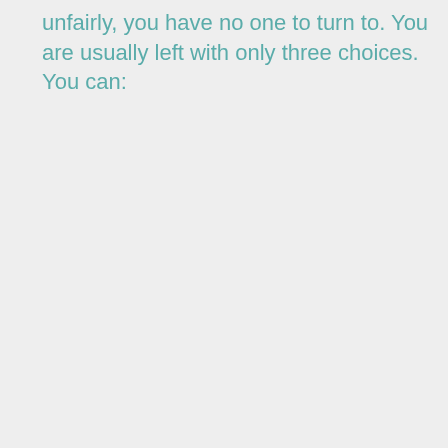unfairly, you have no one to turn to. You are usually left with only three choices. You can: